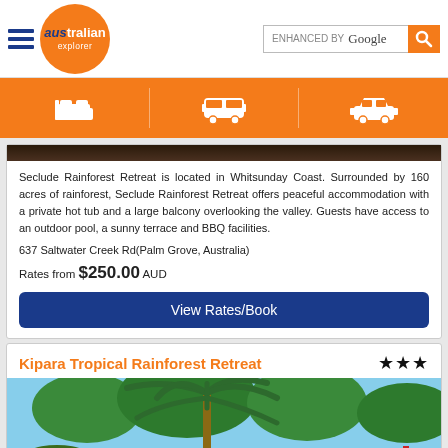Australian Explorer - ENHANCED BY Google
Seclude Rainforest Retreat is located in Whitsunday Coast. Surrounded by 160 acres of rainforest, Seclude Rainforest Retreat offers peaceful accommodation with a private hot tub and a large balcony overlooking the valley. Guests have access to an outdoor pool, a sunny terrace and BBQ facilities.
637 Saltwater Creek Rd(Palm Grove, Australia)
Rates from $250.00 AUD
View Rates/Book
Kipara Tropical Rainforest Retreat
[Figure (photo): Photo of Kipara Tropical Rainforest Retreat showing palm trees, tropical greenery, blue sky, and a KIPARA sign]